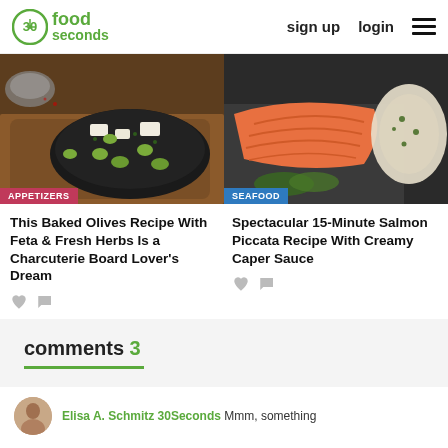30seconds food — sign up login
[Figure (photo): Left: baked olives with feta and herbs in a cast iron pan with green olives and spices, labeled APPETIZERS. Right: salmon piccata with creamy caper sauce on a plate, labeled SEAFOOD.]
This Baked Olives Recipe With Feta & Fresh Herbs Is a Charcuterie Board Lover's Dream
Spectacular 15-Minute Salmon Piccata Recipe With Creamy Caper Sauce
comments 3
Elisa A. Schmitz 30Seconds Mmm, something